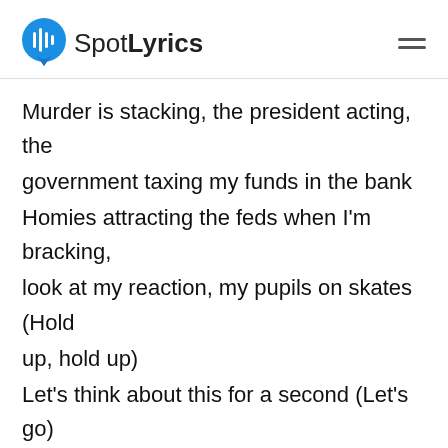SpotLyrics
Murder is stacking, the president acting, the government taxing my funds in the bank
Homies attracting the feds when I'm bracking, look at my reaction, my pupils on skates (Hold up, hold up)
Let's think about this for a second (Let's go)
Tell me what you would do for aesthetic (Let's go)
Would you sell your soul on credit? (Let's go)
Would you sell your bro for leverage? (Let's go)
Where the h[obscured]
What comm[obscured]es
[Figure (screenshot): Spotify-style music player overlay showing song N95 by Kendrick Lamar with PREVIEW and E buttons and a play button]